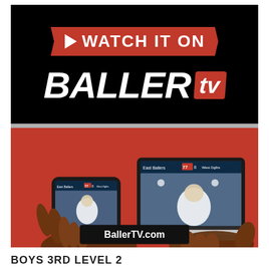[Figure (advertisement): BallerTV advertisement showing 'Watch it on BALLER tv' with a red and black design. Features a play button icon, the BallerTV logo in large italic white text with a red box around 'tv', and a bottom section showing hands holding a phone and laptop displaying a basketball game livestream. Includes a BallerTV.com badge.]
BOYS 3RD LEVEL 2